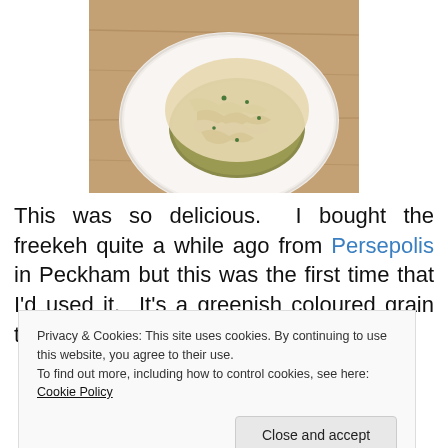[Figure (photo): A white plate with shredded chicken served over a bed of greenish freekeh grain, garnished with fresh herbs, placed on a wooden surface.]
This was so delicious.  I bought the freekeh quite a while ago from Persepolis in Peckham but this was the first time that I'd used it.  It's a greenish coloured grain that has a
Privacy & Cookies: This site uses cookies. By continuing to use this website, you agree to their use.
To find out more, including how to control cookies, see here: Cookie Policy
[Figure (photo): Partial view of another food photo at the bottom of the page on a wooden surface.]